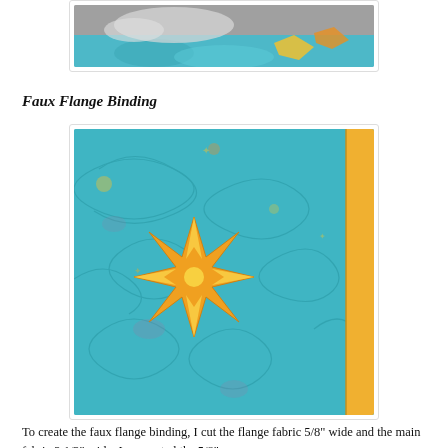[Figure (photo): Partial photo showing a teal/blue quilt held in hands, with colorful fabric visible]
Faux Flange Binding
[Figure (photo): Close-up photo of a teal quilted fabric with swirling free-motion quilting, featuring a large orange and yellow star block appliqué and a yellow faux flange binding visible on the right edge]
To create the faux flange binding, I cut the flange fabric 5/8" wide and the main fabric 2 1/2" wide. I connected the 5/8"